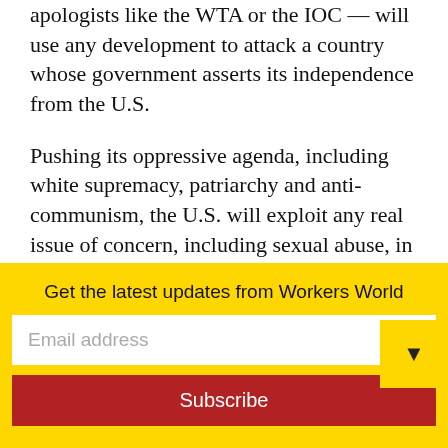apologists like the WTA or the IOC — will use any development to attack a country whose government asserts its independence from the U.S.
Pushing its oppressive agenda, including white supremacy, patriarchy and anti-communism, the U.S. will exploit any real issue of concern, including sexual abuse, in an attempt to isolate their biggest economic rival, China.
Think of how the hundreds of gymnasts
Get the latest updates from Workers World
Email address
Subscribe